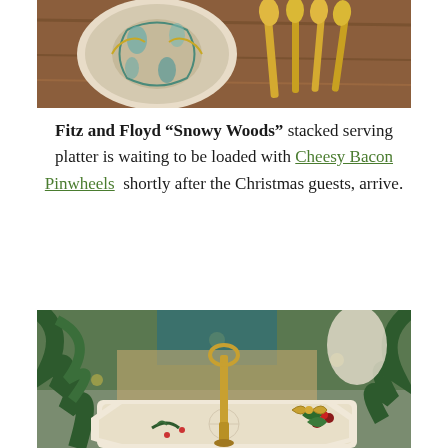[Figure (photo): Close-up of a decorative plate with blue/green pattern and gold utensils on a wooden surface]
Fitz and Floyd “Snowy Woods” stacked serving platter is waiting to be loaded with Cheesy Bacon Pinwheels  shortly after the Christmas guests, arrive.
[Figure (photo): A Fitz and Floyd Snowy Woods stacked serving platter surrounded by Christmas greenery, berries, and holiday decorations]